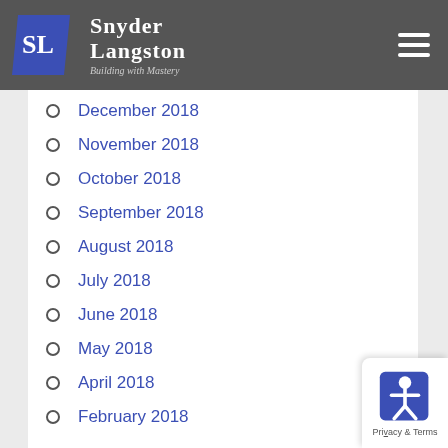Snyder Langston — Building with Mastery
March 2019
January 2019
December 2018
November 2018
October 2018
September 2018
August 2018
July 2018
June 2018
May 2018
April 2018
February 2018